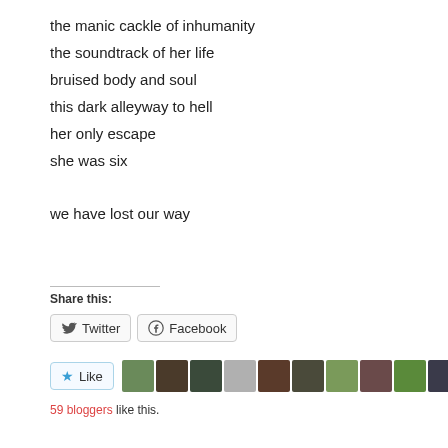the manic cackle of inhumanity
the soundtrack of her life
bruised body and soul
this dark alleyway to hell
her only escape
she was six
we have lost our way
Share this:
Twitter  Facebook
Like
59 bloggers like this.